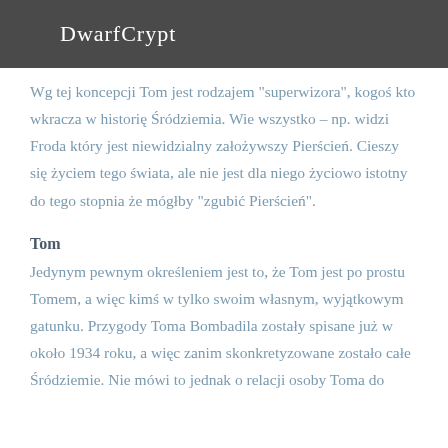DwarfCrypt
Wg tej koncepcji Tom jest rodzajem "superwizora", kogoś kto wkracza w historię Śródziemia. Wie wszystko – np. widzi Froda który jest niewidzialny założywszy Pierścień. Cieszy się życiem tego świata, ale nie jest dla niego życiowo istotny do tego stopnia że mógłby "zgubić Pierścień".
Tom
Jedynym pewnym określeniem jest to, że Tom jest po prostu Tomem, a więc kimś w tylko swoim własnym, wyjątkowym gatunku. Przygody Toma Bombadila zostały spisane już w około 1934 roku, a więc zanim skonkretyzowane zostało całe Śródziemie. Nie mówi to jednak o relacji osoby Toma do